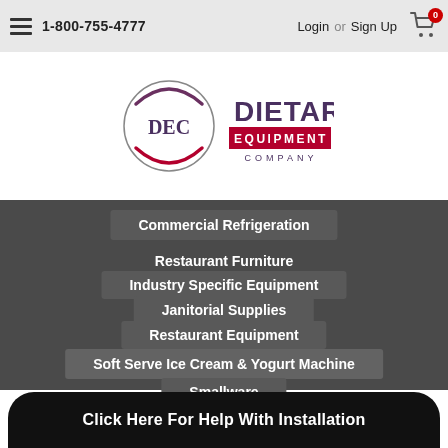1-800-755-4777  Login or Sign Up
[Figure (logo): DEC Dietary Equipment Company logo with circular swoosh and text]
Commercial Refrigeration
Restaurant Furniture
Industry Specific Equipment
Janitorial Supplies
Restaurant Equipment
Soft Serve Ice Cream & Yogurt Machine
Smallware
Click Here For Help With Installation